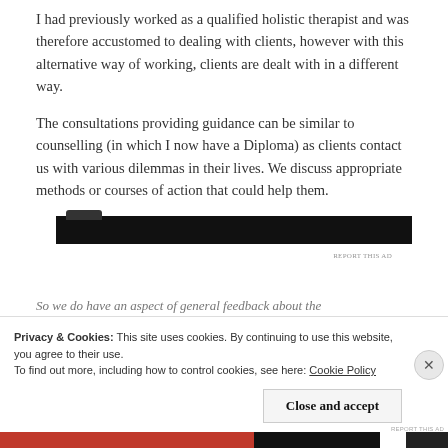I had previously worked as a qualified holistic therapist and was therefore accustomed to dealing with clients, however with this alternative way of working, clients are dealt with in a different way.
The consultations providing guidance can be similar to counselling (in which I now have a Diploma) as clients contact us with various dilemmas in their lives. We discuss appropriate methods or courses of action that could help them.
[Figure (other): Black advertisement banner with a small bump/tab at the top left]
REPORT THIS AD
Privacy & Cookies: This site uses cookies. By continuing to use this website, you agree to their use.
To find out more, including how to control cookies, see here: Cookie Policy
Close and accept